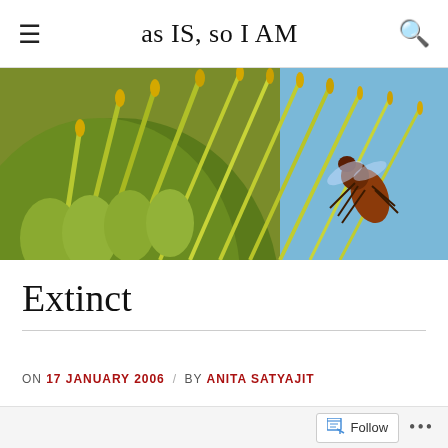as IS, so I AM
[Figure (photo): Close-up macro photograph of a yellow-green agave or succulent flower head with long stamens, with a wasp or bee (reddish-brown) perched on the blooms, against a blue sky background]
Extinct
ON 17 JANUARY 2006 / BY ANITA SATYAJIT
Follow ...